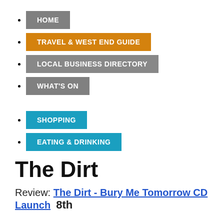HOME
TRAVEL & WEST END GUIDE
LOCAL BUSINESS DIRECTORY
WHAT'S ON
SHOPPING
EATING & DRINKING
The Dirt
Review: The Dirt - Bury Me Tomorrow CD Launch   8th